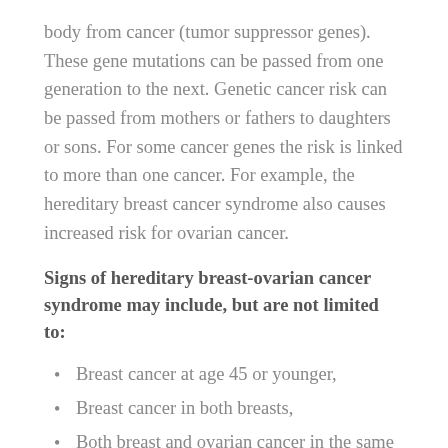body from cancer (tumor suppressor genes). These gene mutations can be passed from one generation to the next. Genetic cancer risk can be passed from mothers or fathers to daughters or sons. For some cancer genes the risk is linked to more than one cancer. For example, the hereditary breast cancer syndrome also causes increased risk for ovarian cancer.
Signs of hereditary breast-ovarian cancer syndrome may include, but are not limited to:
Breast cancer at age 45 or younger,
Breast cancer in both breasts,
Both breast and ovarian cancer in the same woman,